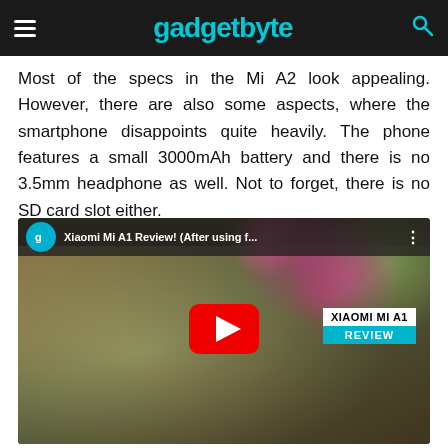gadgetbyte
Most of the specs in the Mi A2 look appealing. However, there are also some aspects, where the smartphone disappoints quite heavily. The phone features a small 3000mAh battery and there is no 3.5mm headphone as well. Not to forget, there is no SD card slot either.
[Figure (screenshot): YouTube video thumbnail for 'Xiaomi Mi A1 Review! (After using f...' on the gadgetbyte channel, showing a young man holding a pink Xiaomi Mi A1 phone with flowers in the background. Includes a red YouTube play button in the center and a label reading 'XIAOMI MI A1 REVIEW' on the right.]